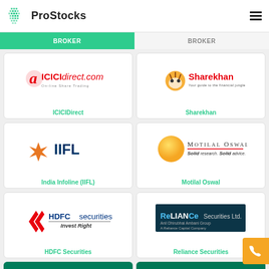ProStocks
BROKER | BROKER
[Figure (logo): ICICIdirect.com On-line Share Trading logo]
ICICIDirect
[Figure (logo): Sharekhan - Your guide to the financial jungle logo with tiger mascot]
Sharekhan
[Figure (logo): IIFL (India Infoline) logo with orange snowflake emblem]
India Infoline (IIFL)
[Figure (logo): Motilal Oswal - Solid research. Solid advice. logo with yellow sphere]
Motilal Oswal
[Figure (logo): HDFC Securities - Invest Right logo]
HDFC Securities
[Figure (logo): Reliance Securities Ltd. - Anil Dhirubhai Ambani Group - A Reliance Capital Company logo]
Reliance Securities
[Figure (logo): IDBI bank logo (partially visible)]
[Figure (logo): Religare Broking logo (partially visible)]